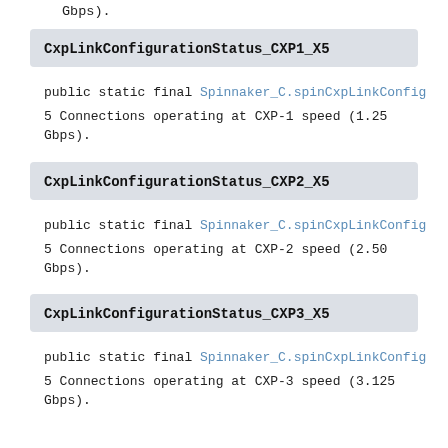Gbps).
CxpLinkConfigurationStatus_CXP1_X5
public static final Spinnaker_C.spinCxpLinkConfig
5 Connections operating at CXP-1 speed (1.25 Gbps).
CxpLinkConfigurationStatus_CXP2_X5
public static final Spinnaker_C.spinCxpLinkConfig
5 Connections operating at CXP-2 speed (2.50 Gbps).
CxpLinkConfigurationStatus_CXP3_X5
public static final Spinnaker_C.spinCxpLinkConfig
5 Connections operating at CXP-3 speed (3.125 Gbps).